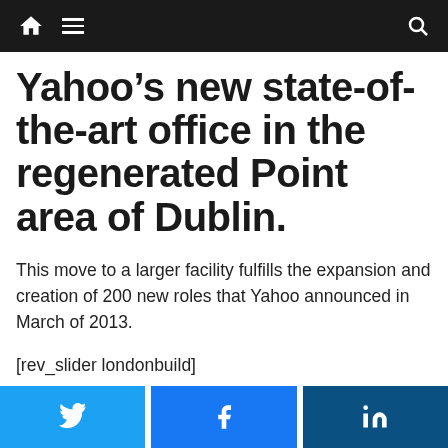Navigation bar with home, menu, and search icons
Yahoo’s new state-of-the-art office in the regenerated Point area of Dublin.
This move to a larger facility fulfills the expansion and creation of 200 new roles that Yahoo announced in March of 2013.
[rev_slider londonbuild]
Social share buttons: Twitter, Facebook, LinkedIn